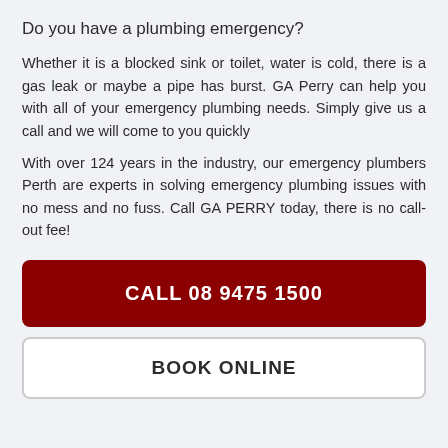Do you have a plumbing emergency?
Whether it is a blocked sink or toilet, water is cold, there is a gas leak or maybe a pipe has burst. GA Perry can help you with all of your emergency plumbing needs. Simply give us a call and we will come to you quickly
With over 124 years in the industry, our emergency plumbers Perth are experts in solving emergency plumbing issues with no mess and no fuss. Call GA PERRY today, there is no call-out fee!
CALL 08 9475 1500
BOOK ONLINE